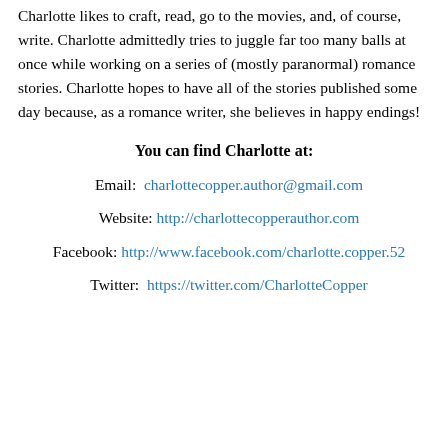Charlotte likes to craft, read, go to the movies, and, of course, write. Charlotte admittedly tries to juggle far too many balls at once while working on a series of (mostly paranormal) romance stories. Charlotte hopes to have all of the stories published some day because, as a romance writer, she believes in happy endings!
You can find Charlotte at:
Email:  charlottecopper.author@gmail.com
Website:  http://charlottecopperauthor.com
Facebook:  http://www.facebook.com/charlotte.copper.52
Twitter:  https://twitter.com/CharlotteCopper